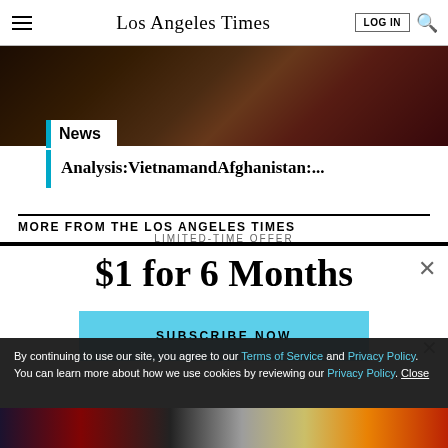Los Angeles Times
[Figure (photo): Dark moody photograph of a person in crowd, appears conflict/protest related]
News
Analysis:VietnamandAfghanistan:...
MORE FROM THE LOS ANGELES TIMES
LIMITED-TIME OFFER
$1 for 6 Months
SUBSCRIBE NOW
By continuing to use our site, you agree to our Terms of Service and Privacy Policy. You can learn more about how we use cookies by reviewing our Privacy Policy. Close